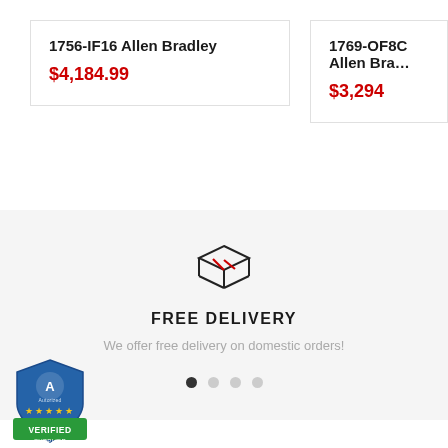1756-IF16 Allen Bradley
$4,184.99
1769-OF8C Allen Bra…
$3,294
[Figure (illustration): Box/package icon with two diagonal red lines]
FREE DELIVERY
We offer free delivery on domestic orders!
[Figure (logo): Autorized Supplier verified badge, shield shape, blue and green colors with stars]